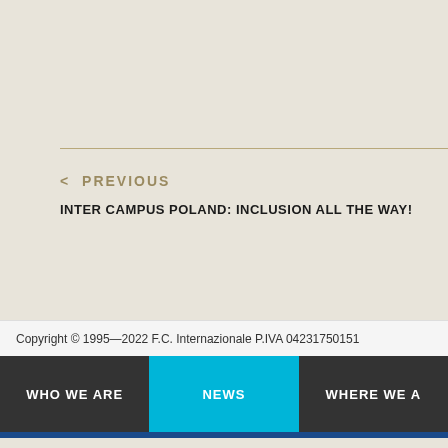< PREVIOUS
INTER CAMPUS POLAND: INCLUSION ALL THE WAY!
Copyright © 1995—2022 F.C. Internazionale P.IVA 04231750151
WHO WE ARE | NEWS | WHERE WE A